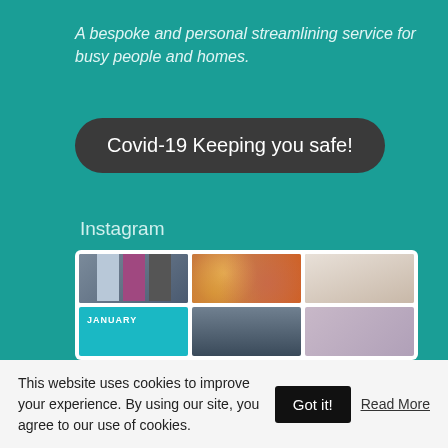A bespoke and personal streamlining service for busy people and homes.
Covid-19 Keeping you safe!
Instagram
[Figure (photo): Instagram grid showing 6 photos: three people posing together, a woman with balloon arch, a woman in rainbow jacket, a January graphic, a staircase interior, and a person]
This website uses cookies to improve your experience. By using our site, you agree to our use of cookies.
Got it!
Read More